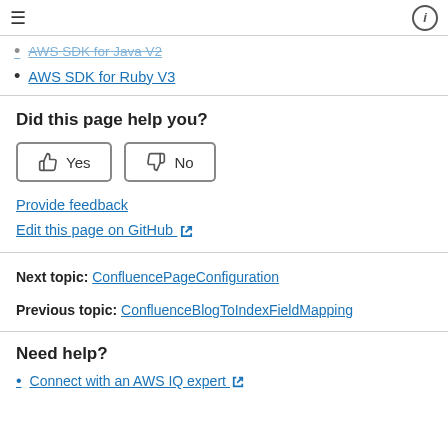≡  ⓘ
AWS SDK for Java V2
AWS SDK for Ruby V3
Did this page help you?
[Figure (other): Two feedback buttons: Yes (thumbs up icon) and No (thumbs down icon)]
Provide feedback
Edit this page on GitHub ↗
Next topic: ConfluencePageConfiguration
Previous topic: ConfluenceBlogToIndexFieldMapping
Need help?
Connect with an AWS IQ expert ↗